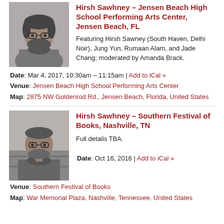[Figure (photo): Black and white photo of Hirsh Sawhney, a man with glasses and beard]
Hirsh Sawhney – Jensen Beach High School Performing Arts Center, Jensen Beach, FL
Featuring Hirsh Sawney (South Haven, Delhi Noir), Jung Yun, Rumaan Alam, and Jade Chang; moderated by Amanda Brack.
Date: Mar 4, 2017, 10:30am – 11:15am | Add to iCal »
Venue: Jensen Beach High School Performing Arts Center
Map: 2875 NW Goldenrod Rd., Jensen Beach, Florida, United States
[Figure (photo): Black and white photo of Hirsh Sawhney, a man with glasses]
Hirsh Sawhney – Southern Festival of Books, Nashville, TN
Full details TBA.
Date: Oct 16, 2016 | Add to iCal »
Venue: Southern Festival of Books
Map: War Memorial Plaza, Nashville, Tennessee, United States